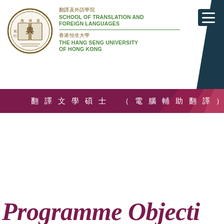[Figure (logo): Circular logo of The Hang Seng University of Hong Kong School of Translation and Foreign Languages, featuring a traditional Chinese open book design with calligraphy characters inside a circular border]
翻譯及外語學院
SCHOOL OF TRANSLATION AND FOREIGN LANGUAGES
香港恒生大學
THE HANG SENG UNIVERSITY OF HONG KONG
翻譯文學碩士（電腦輔助翻譯）
Programme Objectives